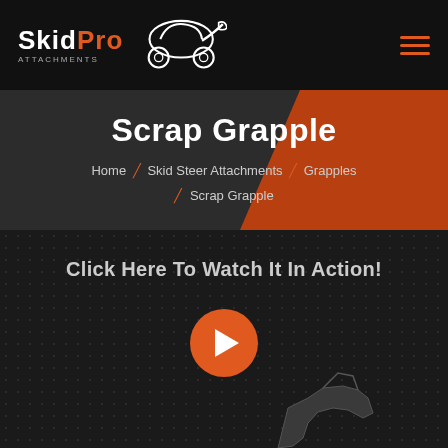[Figure (logo): SkidPro Attachments logo with skid steer machine icon in white outline]
Scrap Grapple
Home / Skid Steer Attachments / Grapples / Scrap Grapple
Click Here To Watch It In Action!
[Figure (illustration): Orange circular play button with white triangle arrow pointing right]